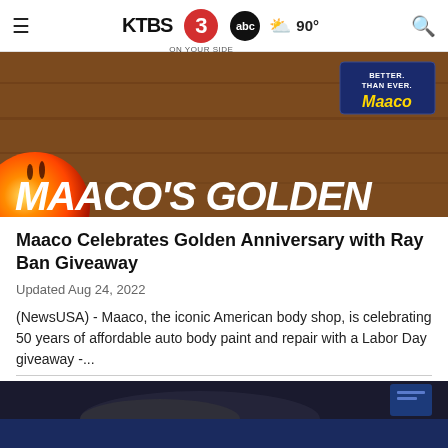KTBS 3 abc ON YOUR SIDE | ☁ 90°
[Figure (photo): Maaco Golden Anniversary promotional banner image showing a cork/brown textured background with an orange circle bottom-left, Maaco badge top-right with 'BETTER THAN EVER' text, and large white italic text reading MAACO'S GOLDEN at the bottom]
Maaco Celebrates Golden Anniversary with Ray Ban Giveaway
Updated Aug 24, 2022
(NewsUSA) - Maaco, the iconic American body shop, is celebrating 50 years of affordable auto body paint and repair with a Labor Day giveaway -...
[Figure (photo): Partial view of a second news article image showing a dark background with what appears to be hair and a device, with a dark blue bookmark icon on the right]